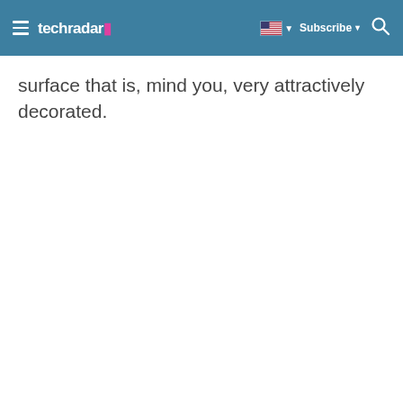techradar | Subscribe | Search
surface that is, mind you, very attractively decorated.